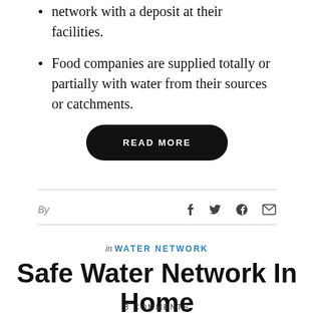Food companies are supplied totally or partially with water from their sources or catchments.
READ MORE
By
in WATER NETWORK
Safe Water Network In Home
3 COMMENTS